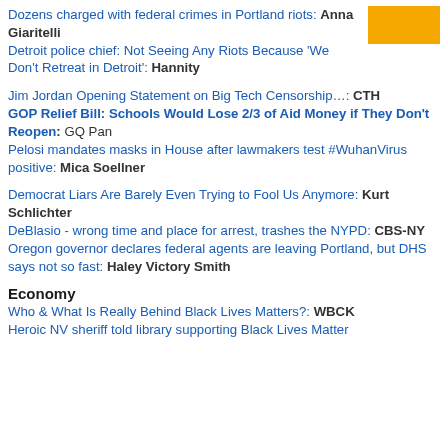Dozens charged with federal crimes in Portland riots: Anna Giaritelli
Detroit police chief: Not Seeing Any Riots Because 'We Don't Retreat in Detroit': Hannity
Jim Jordan Opening Statement on Big Tech Censorship…: CTH
GOP Relief Bill: Schools Would Lose 2/3 of Aid Money if They Don't Reopen: GQ Pan
Pelosi mandates masks in House after lawmakers test #WuhanVirus positive: Mica Soellner
Democrat Liars Are Barely Even Trying to Fool Us Anymore: Kurt Schlichter
DeBlasio - wrong time and place for arrest, trashes the NYPD: CBS-NY
Oregon governor declares federal agents are leaving Portland, but DHS says not so fast: Haley Victory Smith
Economy
Who & What Is Really Behind Black Lives Matters?: WBCK
Heroic NV sheriff told library supporting Black Lives Matter